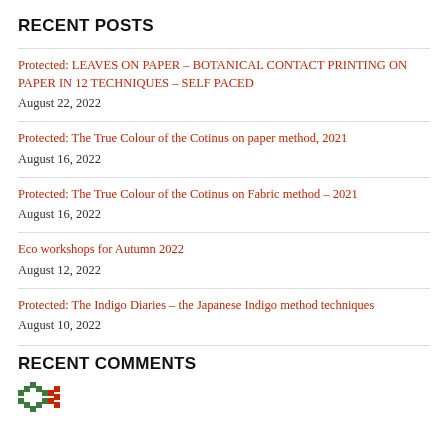RECENT POSTS
Protected: LEAVES ON PAPER – BOTANICAL CONTACT PRINTING ON PAPER IN 12 TECHNIQUES – SELF PACED
August 22, 2022
Protected: The True Colour of the Cotinus on paper method, 2021
August 16, 2022
Protected: The True Colour of the Cotinus on Fabric method – 2021
August 16, 2022
Eco workshops for Autumn 2022
August 12, 2022
Protected: The Indigo Diaries – the Japanese Indigo method techniques
August 10, 2022
RECENT COMMENTS
[Figure (logo): Green and red pixelated/hatched logo icon]